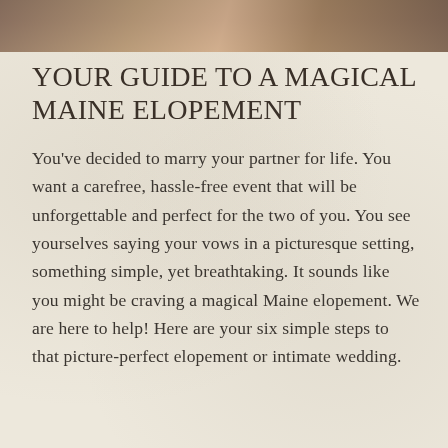[Figure (photo): Partial photo strip at the top of the page showing a cropped wedding/elopement photograph with warm tones]
YOUR GUIDE TO A MAGICAL MAINE ELOPEMENT
You've decided to marry your partner for life. You want a carefree, hassle-free event that will be unforgettable and perfect for the two of you. You see yourselves saying your vows in a picturesque setting, something simple, yet breathtaking. It sounds like you might be craving a magical Maine elopement. We are here to help! Here are your six simple steps to that picture-perfect elopement or intimate wedding.